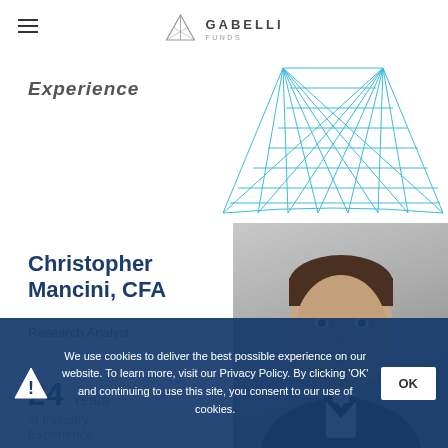GABELLI FUNDS
Experience
[Figure (illustration): Gabelli Funds geometric blue lattice/grid decoration pattern in upper right area]
Christopher Mancini, CFA
Research Analyst
24 Years of Industry Experience
[Figure (photo): Professional headshot photo of Christopher Mancini, a man in a dark suit with a light background]
We use cookies to deliver the best possible experience on our website. To learn more, visit our Privacy Policy. By clicking 'OK' and continuing to use this site, you consent to our use of cookies.